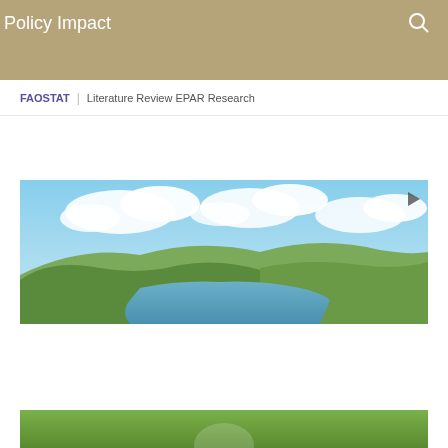Policy Impact
FAOSTAT | Literature Review EPAR Research
[Figure (photo): Aerial landscape photo showing green hills, a lake/reservoir, and a cloudy blue sky]
[Figure (photo): Partial photo at bottom of page, appears to show agricultural or rural scene]